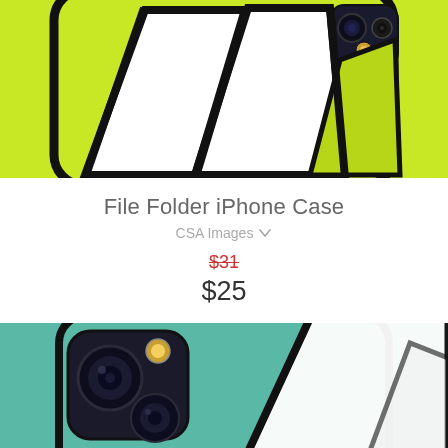[Figure (photo): Top view of a lime green iPhone case with a file folder graphic design featuring white folder shapes with black outlines on bright yellow-green background. Camera module visible at top right.]
File Folder iPhone Case
CSA Images ∨
$31 (strikethrough, sale price $25)
[Figure (photo): Bottom portion of a teal/mint green iPhone case showing the camera area with dual lens camera module in dark housing. The case features black and white geometric line art design on teal background.]